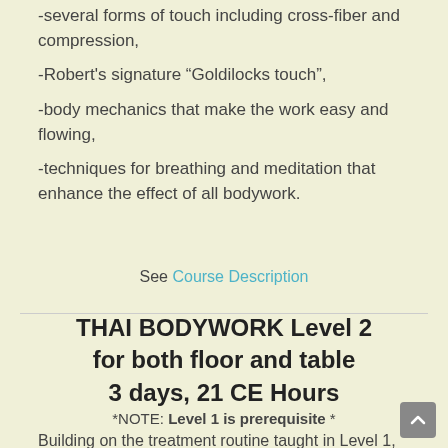-several forms of touch including cross-fiber and compression,
-Robert's signature “Goldilocks touch”,
-body mechanics that make the work easy and flowing,
-techniques for breathing and meditation that enhance the effect of all bodywork.
See Course Description
THAI BODYWORK Level 2 for both floor and table 3 days, 21 CE Hours
*NOTE: Level 1 is prerequisite *
Building on the treatment routine taught in Level 1,